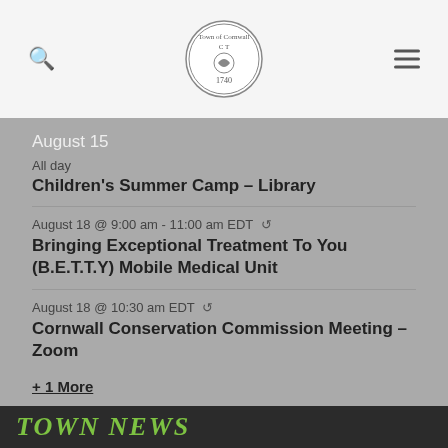[Figure (logo): Town of Cornwall CT 1740 circular seal/logo]
August 15
All day
Children's Summer Camp – Library
August 18 @ 9:00 am - 11:00 am EDT
Bringing Exceptional Treatment To You (B.E.T.T.Y) Mobile Medical Unit
August 18 @ 10:30 am EDT
Cornwall Conservation Commission Meeting – Zoom
+ 1 More
View Calendar
TOWN NEWS